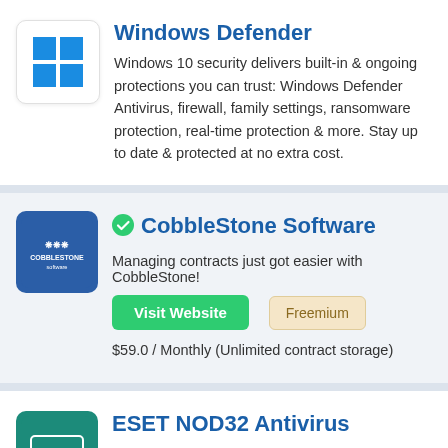[Figure (logo): Windows logo (blue flag/window icon) on white background]
Windows Defender
Windows 10 security delivers built-in & ongoing protections you can trust: Windows Defender Antivirus, firewall, family settings, ransomware protection, real-time protection & more. Stay up to date & protected at no extra cost.
[Figure (logo): CobbleStone Software logo on blue background]
CobbleStone Software
Managing contracts just got easier with CobbleStone!
Visit Website  Freemium
$59.0 / Monthly (Unlimited contract storage)
[Figure (logo): ESET logo (eset branding) on teal/green background]
ESET NOD32 Antivirus
Best IT security solutions for your home and business devices. Try ESET antivirus and internet security.